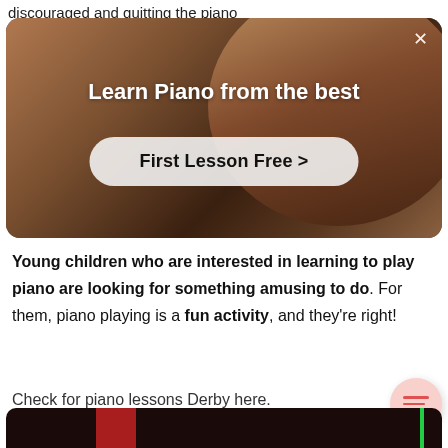discouraged and quitting the piano
[Figure (screenshot): Ad banner with video background showing a person in a red top, overlaid with text 'Learn Piano from the best' and a button 'First Lesson Free >' with a close X button in top right]
Young children who are interested in learning to play piano are looking for something amusing to do. For them, piano playing is a fun activity, and they're right!
Check for piano lessons Derby here.
[Figure (screenshot): Dark bottom strip showing a piano-related image with green and colored vertical bars]